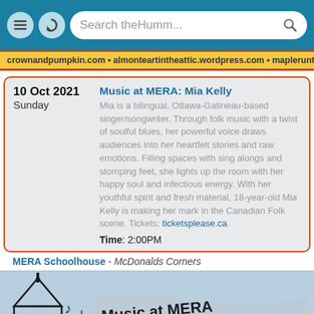[Figure (screenshot): Browser navigation bar with menu icon, refresh icon, and search bar reading 'Search theHumm...']
crownandpumpkin.com • almonteartintheattic.wordpress.com • mapleruntour.com
10 Oct 2021
Sunday
Music at MERA: Mia Kelly
Mia is a bilingual, Ottawa-Gatineau-based singer/songwriter. Through folk music with a twist of soulful blues, her powerful voice draws audiences into her heartfelt stories and raw emotions. Filling spaces with sing alongs and stomping feet, she lights up the room with her happy soul and infectious energy. With her youthful spirit and fresh material, 18-year-old Mia Kelly is making her mark in the Canadian Folk scene. Tickets: ticketsplease.ca.
Time: 2:00PM
MERA Schoolhouse - McDonalds Corners
[Figure (illustration): Music at MERA logo with a church building silhouette, musical notes, and wavy banner text reading 'Music at MERA presents']